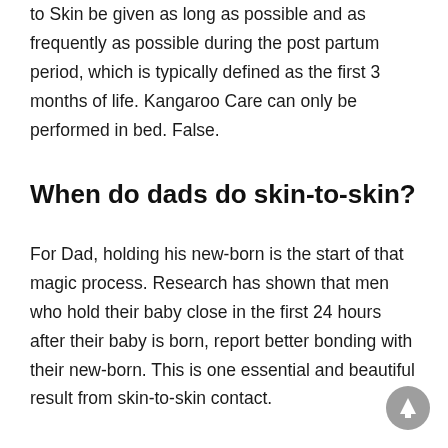to Skin be given as long as possible and as frequently as possible during the post partum period, which is typically defined as the first 3 months of life. Kangaroo Care can only be performed in bed. False.
When do dads do skin-to-skin?
For Dad, holding his new-born is the start of that magic process. Research has shown that men who hold their baby close in the first 24 hours after their baby is born, report better bonding with their new-born. This is one essential and beautiful result from skin-to-skin contact.